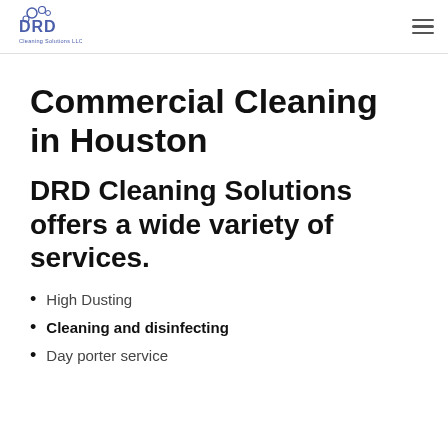DRD Cleaning Solutions LLC
Commercial Cleaning in Houston
DRD Cleaning Solutions offers a wide variety of services.
High Dusting
Cleaning and disinfecting
Day porter service